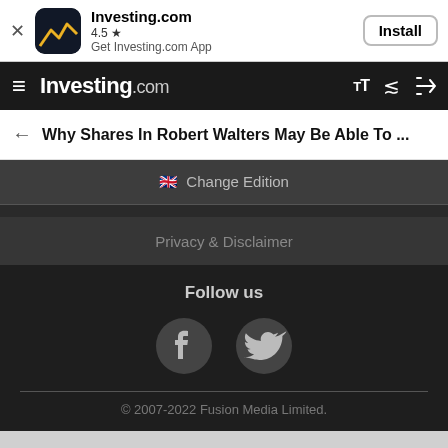[Figure (screenshot): Investing.com app install banner with app icon, rating 4.5 stars, and Install button]
Investing.com
Why Shares In Robert Walters May Be Able To ...
🇬🇧 Change Edition
Privacy & Disclaimer
Follow us
[Figure (illustration): Facebook and Twitter social media icons in dark circles]
© 2007-2022 Fusion Media Limited.